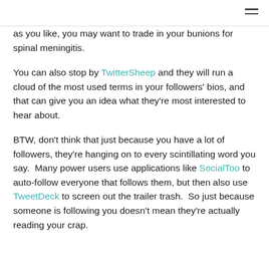as you like, you may want to trade in your bunions for spinal meningitis.
You can also stop by TwitterSheep and they will run a cloud of the most used terms in your followers' bios, and that can give you an idea what they're most interested to hear about.
BTW, don't think that just because you have a lot of followers, they're hanging on to every scintillating word you say.  Many power users use applications like SocialToo to auto-follow everyone that follows them, but then also use TweetDeck to screen out the trailer trash.  So just because someone is following you doesn't mean they're actually reading your crap.